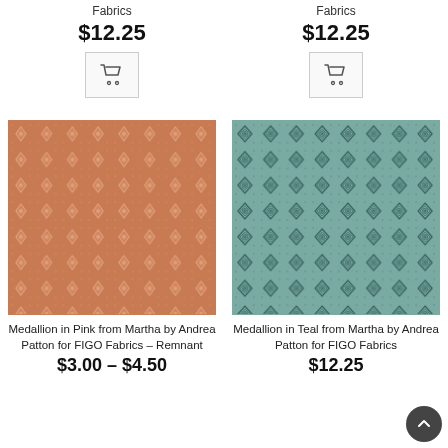Fabrics
$12.25
[Figure (illustration): Shopping cart icon button (left column top)]
Fabrics
$12.25
[Figure (illustration): Shopping cart icon button (right column top)]
[Figure (photo): Medallion in Pink fabric swatch – terracotta/salmon background with small diamond/floral motifs in lighter pink, repeating pattern]
Medallion in Pink from Martha by Andrea Patton for FIGO Fabrics – Remnant
$3.00 – $4.50
[Figure (photo): Medallion in Teal fabric swatch – muted teal/sage background with dark teal diamond and medallion motifs, repeating pattern]
Medallion in Teal from Martha by Andrea Patton for FIGO Fabrics
$12.25